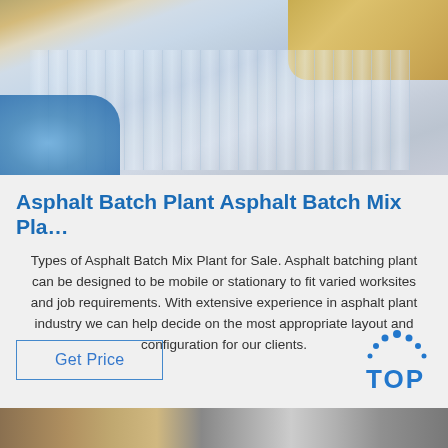[Figure (photo): Photo of metallic corrugated sheet material with blue bubble wrap in lower left and yellowish/golden items in upper right corner]
Asphalt Batch Plant Asphalt Batch Mix Pla…
Types of Asphalt Batch Mix Plant for Sale. Asphalt batching plant can be designed to be mobile or stationary to fit varied worksites and job requirements. With extensive experience in asphalt plant industry we can help decide on the most appropriate layout and configuration for our clients.
[Figure (logo): TOP logo with blue dots arranged in an arch above the letters TOP in blue]
[Figure (photo): Partial bottom strip showing two thumbnail photos]